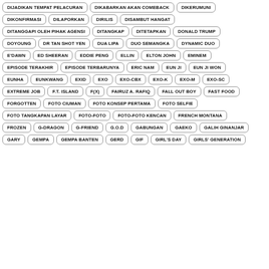DIJADIKAN TEMPAT PELACURAN
DIKABARKAN AKAN COMEBACK
DIKERUMUNI
DIKONFIRMASI
DILAPORKAN
DIRILIS
DISAMBUT HANGAT
DITANGGAPI OLEH PIHAK AGENSI
DITANGKAP
DITETAPKAN
DONALD TRUMP
DOYOUNG
DR TAN SHOT YEN
DUA LIPA
DUO SEMANGKA
DYNAMIC DUO
E'DAWN
ED SHEERAN
EDDIE PENG
ELLIN
ELTON JOHN
EMINEM
EPISODE TERAKHIR
EPISODE TERBARUNYA
ERIC NAM
EUN JI
EUN JI WON
EUNHA
EUNKWANG
EXID
EXO
EXO-CBX
EXO-K
EXO-M
EXO-SC
EXTREME JOB
F.T. ISLAND
F(X)
FAIRUZ A. RAFIQ
FALL OUT BOY
FAST FOOD
FORGOTTEN
FOTO CIUMAN
FOTO KONSEP PERTAMA
FOTO SELFIE
FOTO TANGKAPAN LAYAR
FOTO-FOTO
FOTO-FOTO KENCAN
FRENCH MONTANA
FROZEN
G-DRAGON
G-FRIEND
G.O.D
GABUNGAN
GAEKO
GALIH GINANJAR
GARY
GEMPA
GEMPA BANTEN
GERD
GIF
GIRL'S DAY
GIRLS' GENERATION